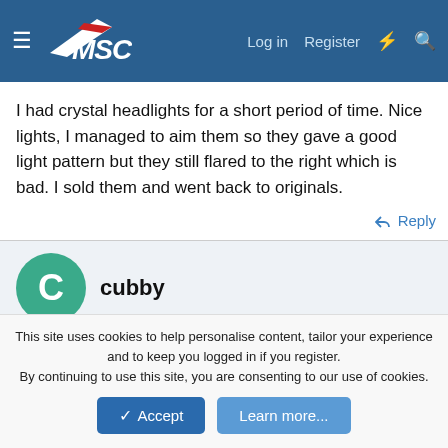MSC — Log in  Register
I had crystal headlights for a short period of time. Nice lights, I managed to aim them so they gave a good light pattern but they still flared to the right which is bad. I sold them and went back to originals.
Reply
cubby
Jul 2, 2006  #20
id buy them if you selling them cheap mate
This site uses cookies to help personalise content, tailor your experience and to keep you logged in if you register.
By continuing to use this site, you are consenting to our use of cookies.